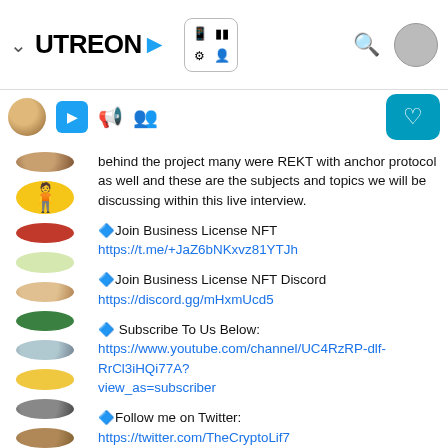UTREON
behind the project many were REKT with anchor protocol as well and these are the subjects and topics we will be discussing within this live interview.
🔷Join Business License NFT
https://t.me/+JaZ6bNKxvz81YTJh
🔷Join Business License NFT Discord
https://discord.gg/mHxmUcd5
🔷 Subscribe To Us Below:
https://www.youtube.com/channel/UC4RzRP-dlf-RrCl3iHQi77A?view_as=subscriber
🔷Follow me on Twitter:
https://twitter.com/TheCryptoLif7
🔷 Disclaimer: The content within this video and on this YouTube channel is solely for educational and entertainment purposes. I am not a financial advisor nor am i a legal Councillor, I am simply a crypto fanatic who loves blockchain technology because i truly